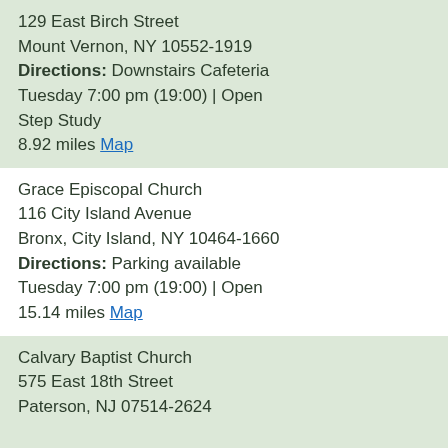129 East Birch Street
Mount Vernon, NY 10552-1919
Directions: Downstairs Cafeteria
Tuesday 7:00 pm (19:00) | Open
Step Study
8.92 miles Map
Grace Episcopal Church
116 City Island Avenue
Bronx, City Island, NY 10464-1660
Directions: Parking available
Tuesday 7:00 pm (19:00) | Open
15.14 miles Map
Calvary Baptist Church
575 East 18th Street
Paterson, NJ 07514-2624

Virtual Meeting
https://zoom.us/j/99750481533 Password: silkcity
Directions: at Hamilton
Tuesday 7:00 pm (19:00) | Open | [wheelchair]
It Works Study; Step Study; Tradition; Venue Temporarily Closed; Virtual Meeting
12.9 miles Map